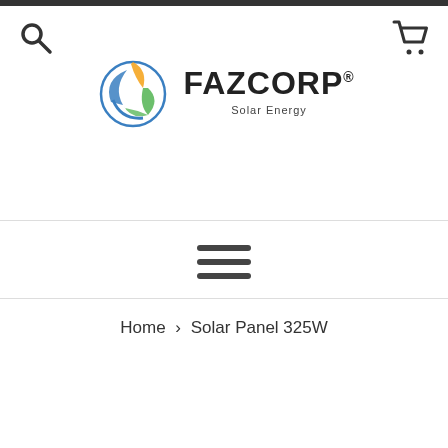[Figure (logo): FAZCORP Solar Energy logo with circular leaf/globe motif in blue, green, and yellow/orange]
Home › Solar Panel 325W